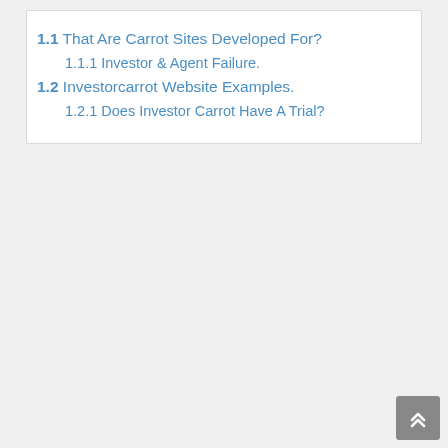1.1  That Are Carrot Sites Developed For?
1.1.1  Investor & Agent Failure.
1.2  Investorcarrot Website Examples.
1.2.1  Does Investor Carrot Have A Trial?